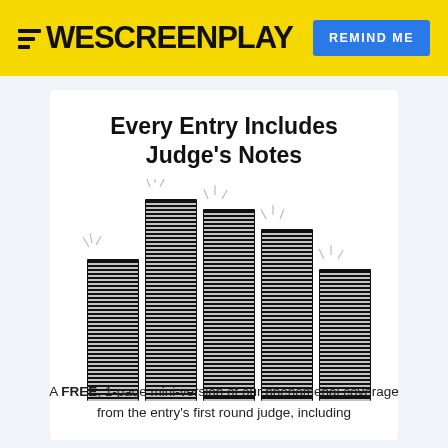WESCREENPLAY | REMIND ME
Every Entry Includes Judge's Notes
[Figure (illustration): Illustration of stacked script pages arranged in columns of different heights, resembling a bar chart made of script pages. Several columns of densely stacked horizontal black lines (representing screenplay pages), with small radiance/shine marks at the tops of the taller stacks.]
A FREE, 1-page mini-version of our phenomenal coverage from the entry's first round judge, including